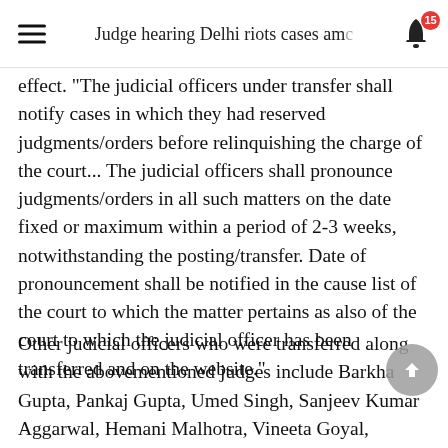Judge hearing Delhi riots cases amc
effect. "The judicial officers under transfer shall notify cases in which they had reserved judgments/orders before relinquishing the charge of the court... The judicial officers shall pronounce judgments/orders in all such matters on the date fixed or maximum within a period of 2-3 weeks, notwithstanding the posting/transfer. Date of pronouncement shall be notified in the cause list of the court to which the matter pertains as also of the court to which the judicial officer has been transferred and on the website.”
Other judicial officers who were transferred along with the abovementioned judges include Barkha Gupta, Pankaj Gupta, Umed Singh, Sanjeev Kumar Aggarwal, Hemani Malhotra, Vineeta Goyal, Sanjeev Kumar